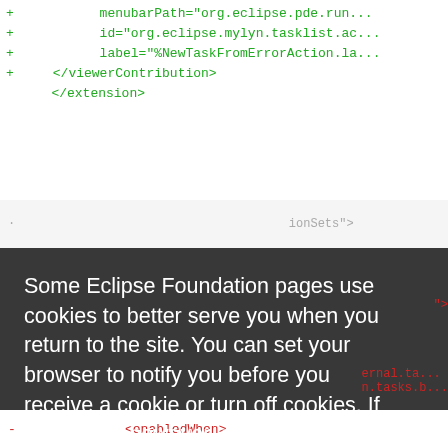[Figure (screenshot): Code diff view showing XML lines with green plus markers for added lines including menubarPath, id, label, and closing viewerContribution tag, followed by closing extension tag]
[Figure (screenshot): Dark cookie consent modal overlay on top of code diff view. Modal contains text about Eclipse Foundation cookie policy and two buttons: Decline and Allow cookies]
Some Eclipse Foundation pages use cookies to better serve you when you return to the site. You can set your browser to notify you before you receive a cookie or turn off cookies. If you do so, however, some areas of some sites may not function properly. To read Eclipse Foundation Privacy Policy
click here.
Decline
Allow cookies